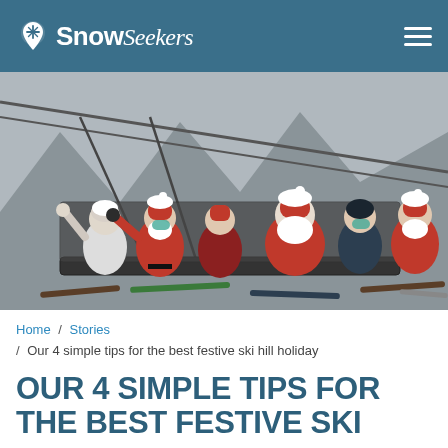SnowSeekers
[Figure (photo): Group of people dressed as Santa Claus and elves sitting on a ski lift chairlift, waving at the camera, with a snowy mountain background. A grayscale/winter scene.]
Home / Stories / Our 4 simple tips for the best festive ski hill holiday
OUR 4 SIMPLE TIPS FOR THE BEST FESTIVE SKI